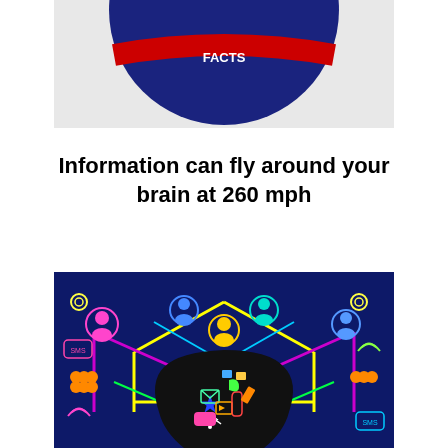[Figure (illustration): Partial view of a circular logo or badge in dark navy blue with red and white text/design elements, cropped at the top of the page showing only the bottom portion]
Information can fly around your brain at 260 mph
[Figure (illustration): Colorful infographic on black background showing a network of social media and communication icons (people, chat bubbles, arrows, gears, RSS symbols) connected by neon-colored lines (yellow, purple, pink, cyan), with a silhouette of a human head filled with various technology and media icons at the bottom center]